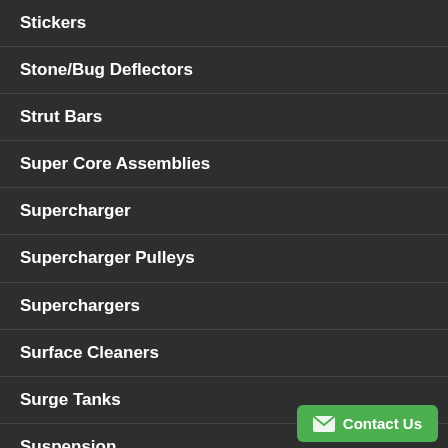Stickers
Stone/Bug Deflectors
Strut Bars
Super Core Assemblies
Supercharger
Supercharger Pulleys
Superchargers
Surface Cleaners
Surge Tanks
Suspension
Suspension Arms & Components